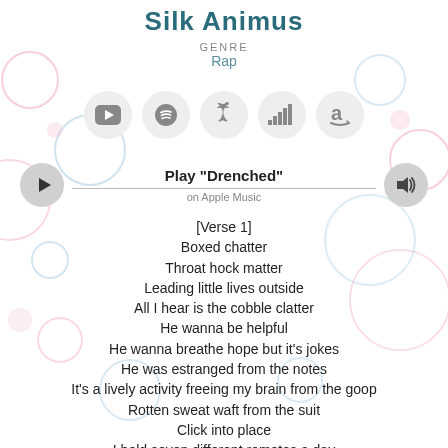Silk Animus
GENRE
Rap
[Figure (infographic): Five streaming platform icon circles: YouTube, Spotify, Apple Music, Deezer, Amazon Music]
Play "Drenched"
on Apple Music
[Verse 1]
Boxed chatter
Throat hock matter
Leading little lives outside
All I hear is the cobble clatter
He wanna be helpful
He wanna breathe hope but it’s jokes
He was estranged from the notes
It’s a lively activity freeing my brain from the goop
Rotten sweat waft from the suit
Click into place
I hold seven different remotes a day